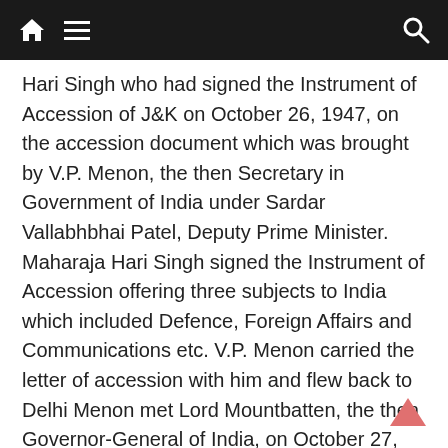Navigation bar with home, menu, and search icons
Hari Singh who had signed the Instrument of Accession of J&K on October 26, 1947, on the accession document which was brought by V.P. Menon, the then Secretary in Government of India under Sardar Vallabhbhai Patel, Deputy Prime Minister. Maharaja Hari Singh signed the Instrument of Accession offering three subjects to India which included Defence, Foreign Affairs and Communications etc. V.P. Menon carried the letter of accession with him and flew back to Delhi Menon met Lord Mountbatten, the then Governor-General of India, on October 27, 1947, the day the Governor-General signed the Instrument of Accession. Thus Accession Day of J&K including Ladakh is recorded in the history of Accession, October 27, 1947, says senior Supreme Court